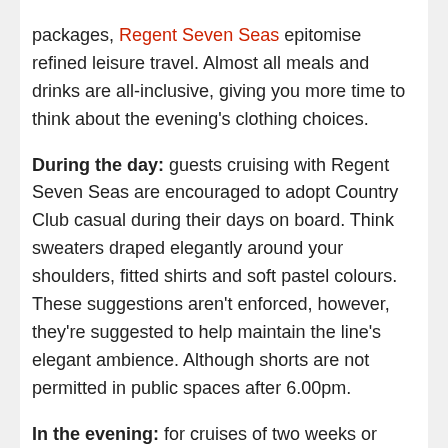packages, Regent Seven Seas epitomise refined leisure travel. Almost all meals and drinks are all-inclusive, giving you more time to think about the evening's clothing choices.
During the day: guests cruising with Regent Seven Seas are encouraged to adopt Country Club casual during their days on board. Think sweaters draped elegantly around your shoulders, fitted shirts and soft pastel colours. These suggestions aren't enforced, however, they're suggested to help maintain the line's elegant ambience. Although shorts are not permitted in public spaces after 6.00pm.
In the evening: for cruises of two weeks or under, every night the dress code is 'elegant casual' – formal trousers (US = slacks) and collared shirts for men, and skirts, slacks, blouses, sweaters, trouser suits and dresses for the women. For cruises more than two weeks in length, there will be two formal nights where gowns, cocktail dresses, tuxedos and dinner jackets are required.